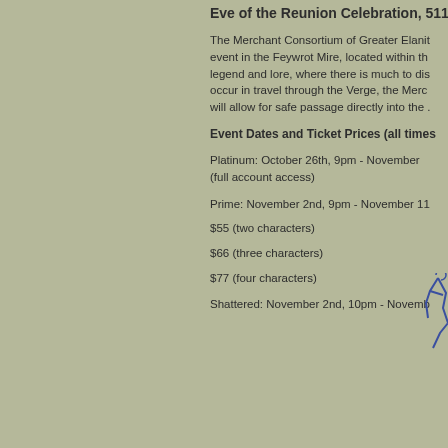Eve of the Reunion Celebration, 5112
The Merchant Consortium of Greater Elanith is hosting a pre-event in the Feywrot Mire, located within the area rich in legend and lore, where there is much to discover. To avoid delays that occur in travel through the Verge, the Merchant Consortium will allow for safe passage directly into the ...
Event Dates and Ticket Prices (all times ...
Platinum:  October 26th, 9pm  - November ...
(full account access)
Prime: November 2nd, 9pm - November 11...
$55 (two characters)
$66 (three characters)
$77 (four characters)
Shattered: November 2nd, 10pm - Novemb...
[Figure (illustration): A small blue line drawing of what appears to be a figure or character, partially visible at the right edge of the page]
"Perhaps a bit of this, or a bit of that,
some knotted string, or a flattened tack...